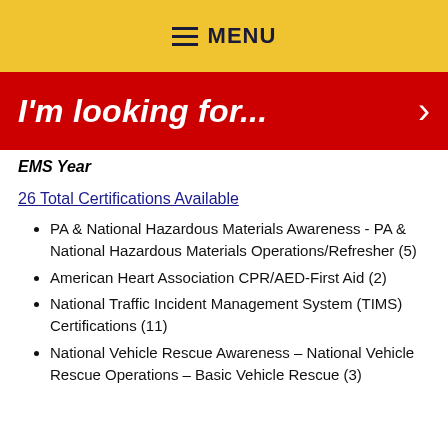MENU
I'm looking for...
EMS Year
26 Total Certifications Available
PA & National Hazardous Materials Awareness - PA & National Hazardous Materials Operations/Refresher (5)
American Heart Association CPR/AED-First Aid (2)
National Traffic Incident Management System (TIMS) Certifications (11)
National Vehicle Rescue Awareness – National Vehicle Rescue Operations – Basic Vehicle Rescue (3)